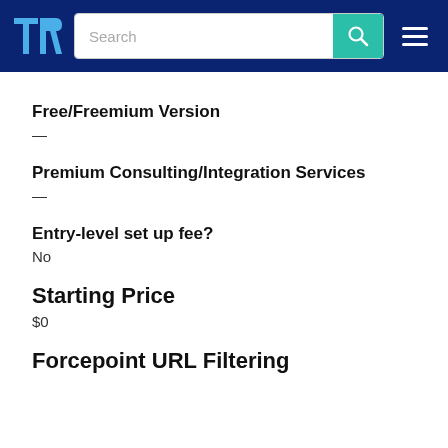TrustRadius — Search
Free/Freemium Version
—
Premium Consulting/Integration Services
—
Entry-level set up fee?
No
Starting Price
$0
Forcepoint URL Filtering